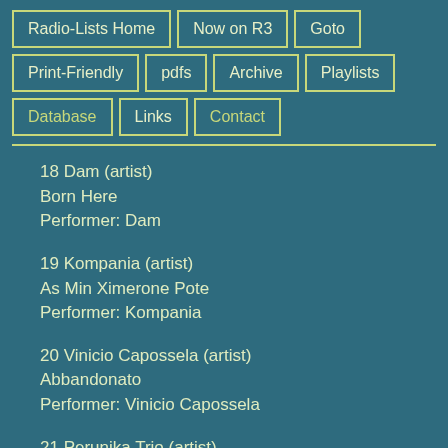Radio-Lists Home
Now on R3
Goto
Print-Friendly
pdfs
Archive
Playlists
Database
Links
Contact
18 Dam (artist)
Born Here
Performer: Dam
19 Kompania (artist)
As Min Ximerone Pote
Performer: Kompania
20 Vinicio Capossela (artist)
Abbandonato
Performer: Vinicio Capossela
21 Perunika Trio (artist)
Proshtavay Mamo
Performer: Perunika Trio